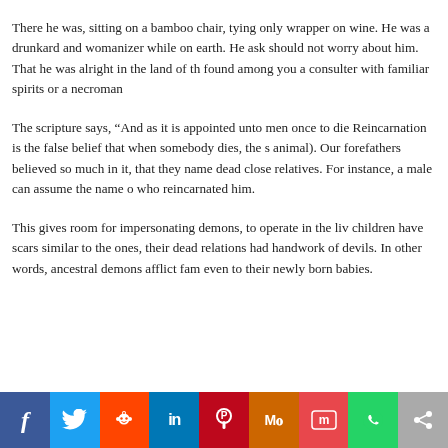There he was, sitting on a bamboo chair, tying only wrapper on wine. He was a drunkard and womanizer while on earth. He asked should not worry about him. That he was alright in the land of the found among you a consulter with familiar spirits or a necroman
The scripture says, “And as it is appointed unto men once to die Reincarnation is the false belief that when somebody dies, the s animal). Our forefathers believed so much in it, that they name dead close relatives. For instance, a male can assume the name who reincarnated him.
This gives room for impersonating demons, to operate in the liv children have scars similar to the ones, their dead relations had handwork of devils. In other words, ancestral demons afflict fam even to their newly born babies.
[Figure (infographic): Social media share bar with icons: Facebook (blue), Twitter (light blue), Reddit (orange-red), LinkedIn (dark blue), Pinterest (dark red), MeWe (orange-brown), Mix (red), WhatsApp (green), Share (grey)]